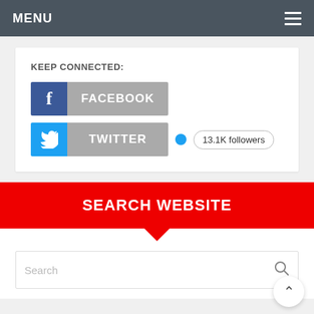MENU
KEEP CONNECTED:
[Figure (screenshot): Facebook social button with blue icon and grey FACEBOOK label]
[Figure (screenshot): Twitter social button with blue icon and grey TWITTER label, plus 13.1K followers badge]
SEARCH WEBSITE
Search